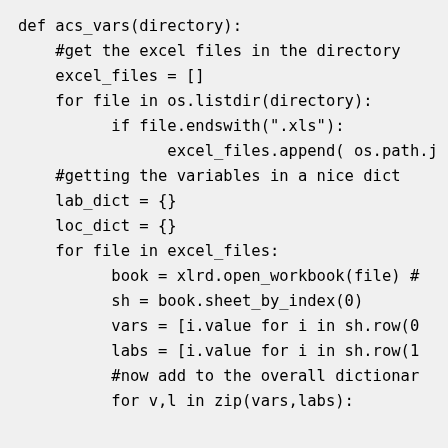def acs_vars(directory):
    #get the excel files in the directory
    excel_files = []
    for file in os.listdir(directory):
          if file.endswith(".xls"):
                excel_files.append( os.path.j
    #getting the variables in a nice dict
    lab_dict = {}
    loc_dict = {}
    for file in excel_files:
          book = xlrd.open_workbook(file) #
          sh = book.sheet_by_index(0)
          vars = [i.value for i in sh.row(0
          labs = [i.value for i in sh.row(1
          #now add to the overall dictionar
          for v,l in zip(vars,labs):